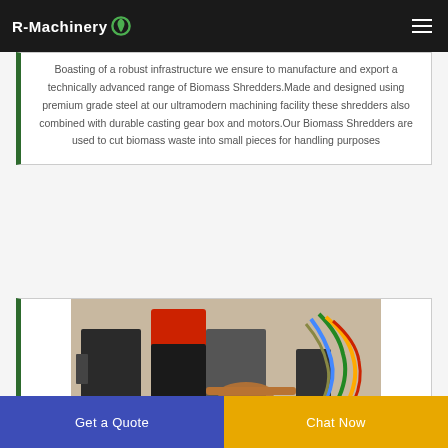R-Machinery
Boasting of a robust infrastructure we ensure to manufacture and export a technically advanced range of Biomass Shredders.Made and designed using premium grade steel at our ultramodern machining facility these shredders also combined with durable casting gear box and motors.Our Biomass Shredders are used to cut biomass waste into small pieces for handling purposes
[Figure (photo): A biomass shredder machine with red motor housing, black components, copper-colored coils and colorful cables/wires on the right side]
Get a Quote
Chat Now